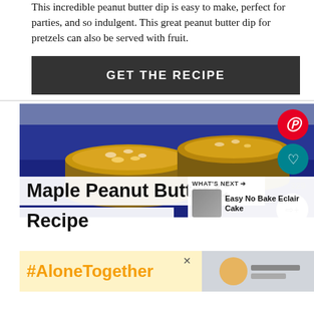This incredible peanut butter dip is easy to make, perfect for parties, and so indulgent. This great peanut butter dip for pretzels can also be served with fruit.
GET THE RECIPE
[Figure (photo): Photo of maple peanut butter cups on a dark blue plate, showing round peanut butter cups topped with chopped nuts]
Maple Peanut Butter C
Recipe
WHAT'S NEXT → Easy No Bake Eclair Cake
#AloneTogether